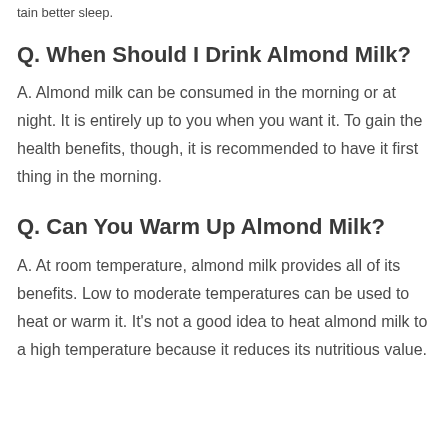tain better sleep.
Q. When Should I Drink Almond Milk?
A. Almond milk can be consumed in the morning or at night. It is entirely up to you when you want it. To gain the health benefits, though, it is recommended to have it first thing in the morning.
Q. Can You Warm Up Almond Milk?
A. At room temperature, almond milk provides all of its benefits. Low to moderate temperatures can be used to heat or warm it. It's not a good idea to heat almond milk to a high temperature because it reduces its nutritious value.